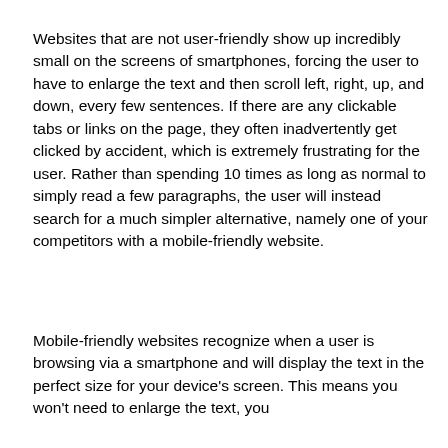Websites that are not user-friendly show up incredibly small on the screens of smartphones, forcing the user to have to enlarge the text and then scroll left, right, up, and down, every few sentences. If there are any clickable tabs or links on the page, they often inadvertently get clicked by accident, which is extremely frustrating for the user. Rather than spending 10 times as long as normal to simply read a few paragraphs, the user will instead search for a much simpler alternative, namely one of your competitors with a mobile-friendly website.
Mobile-friendly websites recognize when a user is browsing via a smartphone and will display the text in the perfect size for your device's screen. This means you won't need to enlarge the text, you